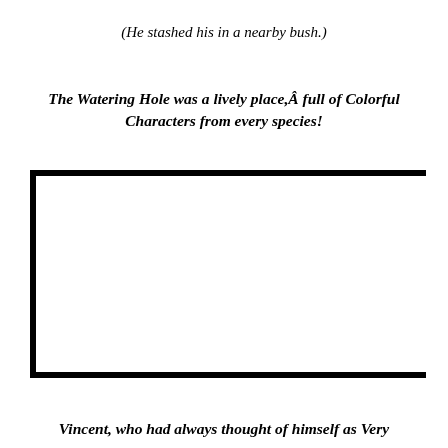(He stashed his in a nearby bush.)
The Watering Hole was a lively place,Â full of Colorful Characters from every species!
[Figure (illustration): A large empty rectangular box with thick black border lines on the top, left, and bottom sides (open on the right side). The interior is blank/white, suggesting a placeholder for an illustration.]
Vincent, who had always thought of himself as Very